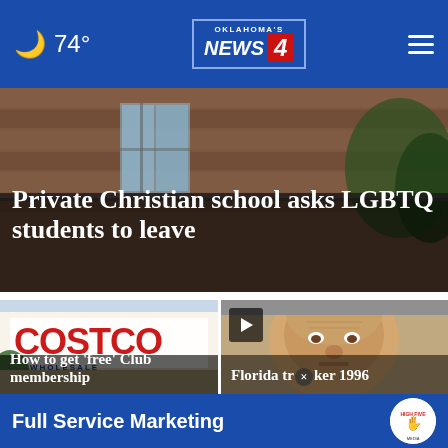74° — Oklahoma's News 4
[Figure (photo): Exterior of a brick building, dark/rainy atmosphere]
Private Christian school asks LGBTQ students to leave
[Figure (photo): Costco Wholesale store exterior sign]
How to get 'free' Club membership
[Figure (photo): Mug shot of an elderly man, Florida trucker story]
Florida trucker 1996
Full Service Marketing — High Five Media